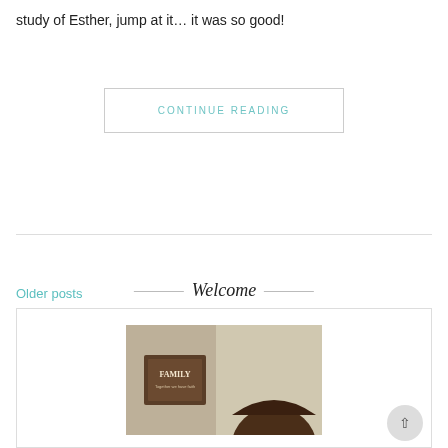study of Esther, jump at it... it was so good!
CONTINUE READING
Older posts
Welcome
[Figure (photo): A person in front of a wall with a 'FAMILY' decorative sign, cropped view showing top of head with dark hair]